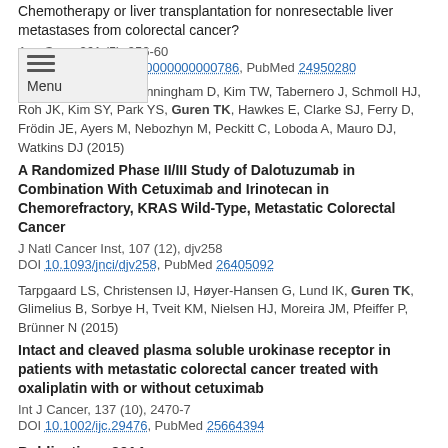Chemotherapy or liver transplantation for nonresectable liver metastases from colorectal cancer?
Ann Surg, 261 (5), 956-60
DOI 10.1097/SLA.0000000000000786, PubMed 24950280
Sclafani F, Kim TY, Cunningham D, Kim TW, Tabernero J, Schmoll HJ, Roh JK, Kim SY, Park YS, Guren TK, Hawkes E, Clarke SJ, Ferry D, Frödin JE, Ayers M, Nebozhyn M, Peckitt C, Loboda A, Mauro DJ, Watkins DJ (2015)
A Randomized Phase II/III Study of Dalotuzumab in Combination With Cetuximab and Irinotecan in Chemorefractory, KRAS Wild-Type, Metastatic Colorectal Cancer
J Natl Cancer Inst, 107 (12), djv258
DOI 10.1093/jnci/djv258, PubMed 26405092
Tarpgaard LS, Christensen IJ, Høyer-Hansen G, Lund IK, Guren TK, Glimelius B, Sorbye H, Tveit KM, Nielsen HJ, Moreira JM, Pfeiffer P, Brünner N (2015)
Intact and cleaved plasma soluble urokinase receptor in patients with metastatic colorectal cancer treated with oxaliplatin with or without cetuximab
Int J Cancer, 137 (10), 2470-7
DOI 10.1002/ijc.29476, PubMed 25664394
Publications 2014